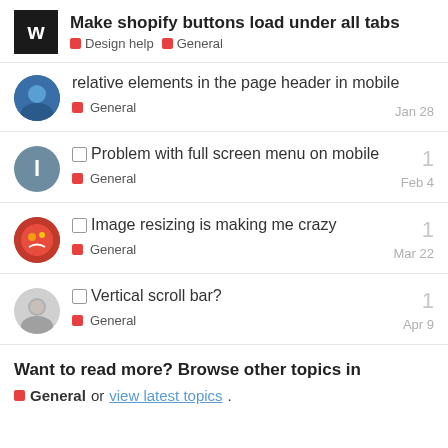Make shopify buttons load under all tabs | Design help | General
relative elements in the page header in mobile | General | Jan 28
Problem with full screen menu on mobile | General | Feb 4 | replies: 1
Image resizing is making me crazy | General | Mar 22 | replies: 1
Vertical scroll bar? | General | Apr 9 | replies: 1
Want to read more? Browse other topics in General or view latest topics.